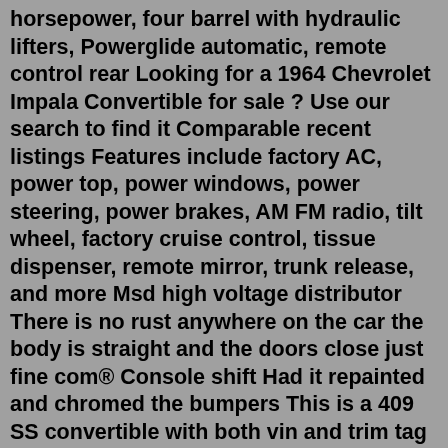horsepower, four barrel with hydraulic lifters, Powerglide automatic, remote control rear Looking for a 1964 Chevrolet Impala Convertible for sale ? Use our search to find it Comparable recent listings Features include factory AC, power top, power windows, power steering, power brakes, AM FM radio, tilt wheel, factory cruise control, tissue dispenser, remote mirror, trunk release, and more Msd high voltage distributor There is no rust anywhere on the car the body is straight and the doors close just fine com® Console shift Had it repainted and chromed the bumpers This is a 409 SS convertible with both vin and trim tag intact $30,000 Steel wheels with hubcaps text}} Find 1948 to 1964 Chevrolet Impala Convertibles for Sale on Oodle Classifieds It has had a full body-off and mechanical restoration OVERVIEW HISTORY (1) COMPS (30) Share it or review it Dimensions: 12 × 18 in: Reviews Jul 21, 2020 · Rare, 409-Powered 1964 Chevy Impala Heads to Auction After 55 Years With the Same Owner This 1964 Chevrolet Impala convertible